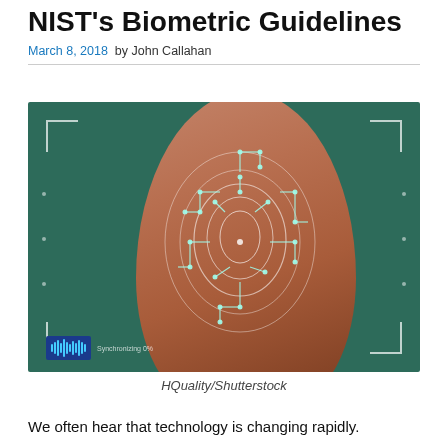NIST's Biometric Guidelines
March 8, 2018 by John Callahan
[Figure (photo): Close-up of a fingertip with glowing circuit board pattern overlaid on the fingerprint, displayed on a dark teal scanner interface with corner brackets and a waveform indicator at the bottom left.]
HQuality/Shutterstock
We often hear that technology is changing rapidly.